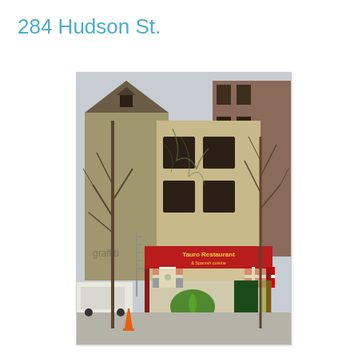284 Hudson St.
[Figure (photo): Street-level photograph of 284 Hudson St., showing a multi-story mixed-use building. The ground floor features a Tauro Restaurant with a red awning and Dominican Republic flags displayed. The upper floors show a weathered, beige stucco facade with dark windows and a peaked roof dormer. Bare winter trees are visible in front of the building. A white van and an orange traffic cone are visible on the left side of the image.]